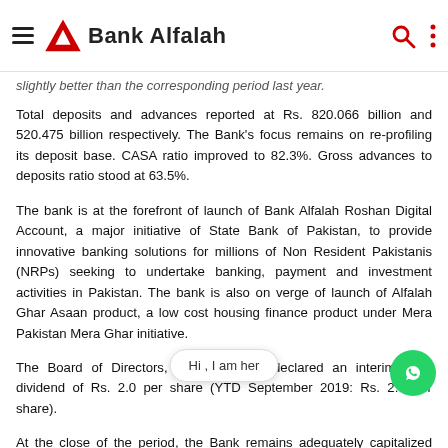Bank Alfalah
slightly better than the corresponding period last year.
Total deposits and advances reported at Rs. 820.066 billion and 520.475 billion respectively. The Bank's focus remains on re-profiling its deposit base. CASA ratio improved to 82.3%. Gross advances to deposits ratio stood at 63.5%.
The bank is at the forefront of launch of Bank Alfalah Roshan Digital Account, a major initiative of State Bank of Pakistan, to provide innovative banking solutions for millions of Non Resident Pakistanis (NRPs) seeking to undertake banking, payment and investment activities in Pakistan. The bank is also on verge of launch of Alfalah Ghar Asaan product, a low cost housing finance product under Mera Pakistan Mera Ghar initiative.
The Board of Directors, in its meeting declared an interim cash dividend of Rs. 2.0 per share (YTD September 2019: Rs. 2.0 per share).
At the close of the period, the Bank remains adequately capitalized with CAR at 18.35%.